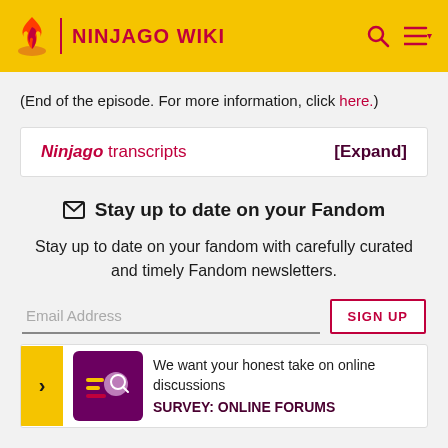NINJAGO WIKI
(End of the episode. For more information, click here.)
| Ninjago transcripts | [Expand] |
| --- | --- |
Stay up to date on your Fandom
Stay up to date on your fandom with carefully curated and timely Fandom newsletters.
Email Address  SIGN UP
We want your honest take on online discussions
SURVEY: ONLINE FORUMS